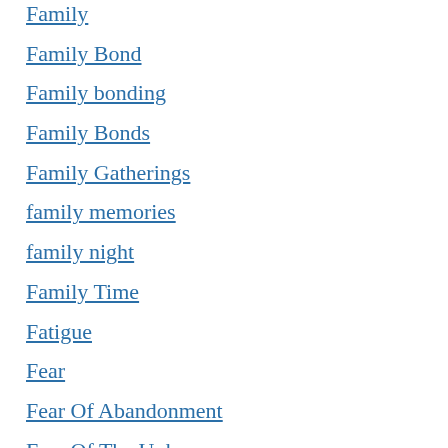Family
Family Bond
Family bonding
Family Bonds
Family Gatherings
family memories
family night
Family Time
Fatigue
Fear
Fear Of Abandonment
Fear Of The Unknown
Finances
First Responders
fitness for office
Flexibility